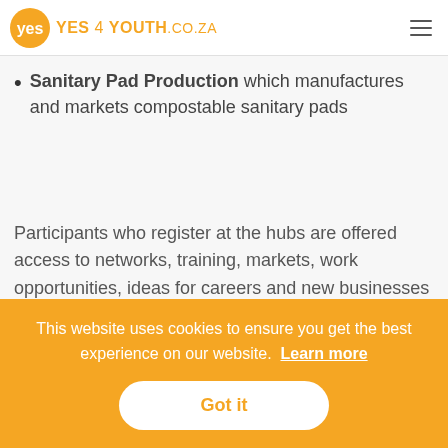YES 4 YOUTH .CO.ZA
Sanitary Pad Production which manufactures and markets compostable sanitary pads
Participants who register at the hubs are offered access to networks, training, markets, work opportunities, ideas for careers and new businesses and partner support.
For more information, visit
This website uses cookies to ensure you get the best experience on our website. Learn more
Got it